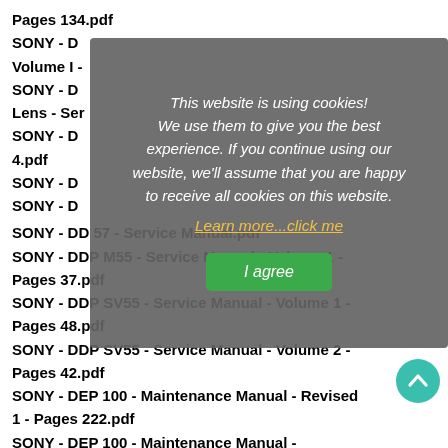Pages 134.pdf
SONY - D
Volume I -
SONY - D
Lens - Ser
SONY - D
4.pdf
SONY - D
SONY - D
[Figure (screenshot): Cookie consent overlay with text: 'This website is using cookies! We use them to give you the best experience. If you continue using our website, we'll assume that you are happy to receive all cookies on this website. Learn more...click me' and an 'I agree' green button.]
SONY - DD 57 - Service Manual.pdf
SONY - DDP M55 - Service Manual - Volume 1 - Pages 37.pdf
SONY - DDP SV55 - Service Manual - Volume 1 - Pages 48.pdf
SONY - DDP SV55 - Service Manual - Volume 2 - Pages 42.pdf
SONY - DEP 100 - Maintenance Manual - Revised 1 - Pages 222.pdf
SONY - DEP 100 - Maintenance Manual -